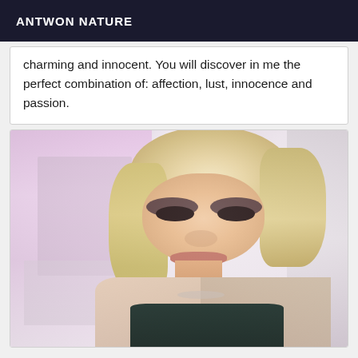ANTWON NATURE
charming and innocent. You will discover in me the perfect combination of: affection, lust, innocence and passion.
[Figure (photo): Photo of a blonde woman with an updo hairstyle, dark eye makeup, wearing a dark top, photographed indoors with shelving in the background.]